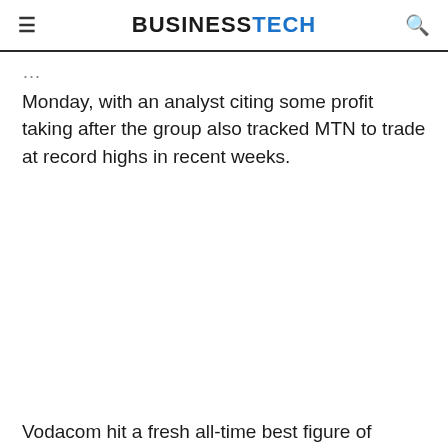BUSINESSTECH
Monday, with an analyst citing some profit taking after the group also tracked MTN to trade at record highs in recent weeks.
Vodacom hit a fresh all-time best figure of R122.49